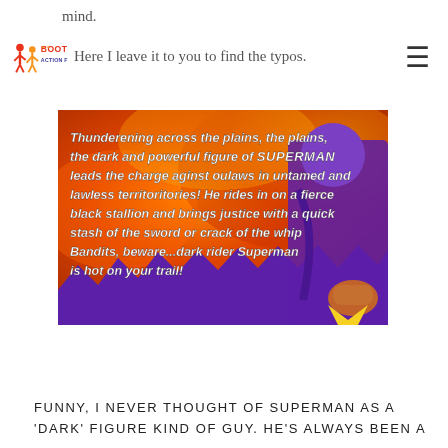mind.
Here I leave it to you to find the typos.
[Figure (photo): Photo of a bootleg Superman action figure box back panel with orange and purple illustrated background. White italic text reads: 'Thunderening across the plains, the plains, the dark and powerful figure of SUPERMAN leads the charge aginst oulaws in untamed and lawless territoritories! He rides in on a fierce black stallion and brings justice with a quick stash of the sword or crack of the whip Bandits, beware...dark rider Superman is hot on your trail!']
FUNNY, I NEVER THOUGHT OF SUPERMAN AS A 'DARK' FIGURE KIND OF GUY. HE'S ALWAYS BEEN A